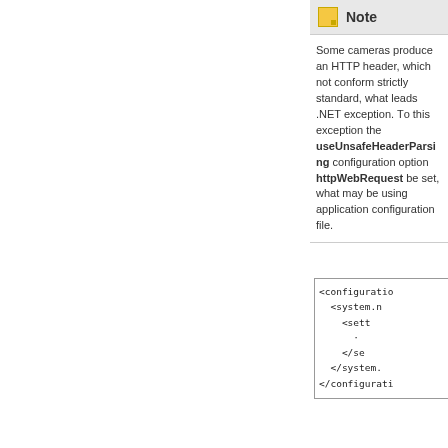Note — Some cameras produce an HTTP header, which does not conform strictly to the standard, what leads to a .NET exception. To overcome this exception the useUnsafeHeaderParsing configuration option of the httpWebRequest element must be set, what may be done using application configuration file.
[Figure (screenshot): XML configuration file snippet showing configuration, system.net, settings, httpWebRequest and closing tags]